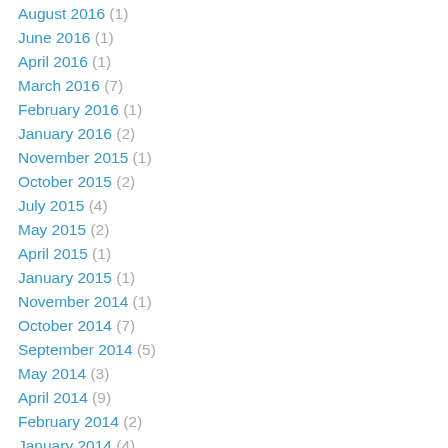August 2016 (1)
June 2016 (1)
April 2016 (1)
March 2016 (7)
February 2016 (1)
January 2016 (2)
November 2015 (1)
October 2015 (2)
July 2015 (4)
May 2015 (2)
April 2015 (1)
January 2015 (1)
November 2014 (1)
October 2014 (7)
September 2014 (5)
May 2014 (3)
April 2014 (9)
February 2014 (2)
January 2014 (4)
December 2013 (1)